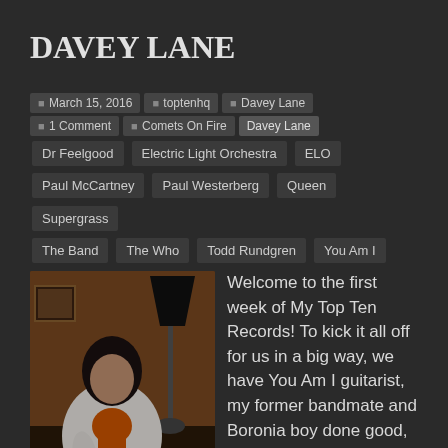DAVEY LANE
March 15, 2016   toptenhq   Davey Lane
1 Comment   Comets On Fire   Davey Lane   Dr Feelgood   Electric Light Orchestra   ELO   Paul McCartney   Paul Westerberg   Queen   Supergrass   The Band   The Who   Todd Rundgren   You Am I
[Figure (photo): Man in white jacket with orange scarf sitting in a room with warm lighting and a lamp]
Welcome to the first week of My Top Ten Records! To kick it all off for us in a big way, we have You Am I guitarist, my former bandmate and Boronia boy done good, the wonderful Davey Lane. I'm not going to give you his life story but what I will give you is a few of my favourite Davey moments. Check the fuzzed out guitar